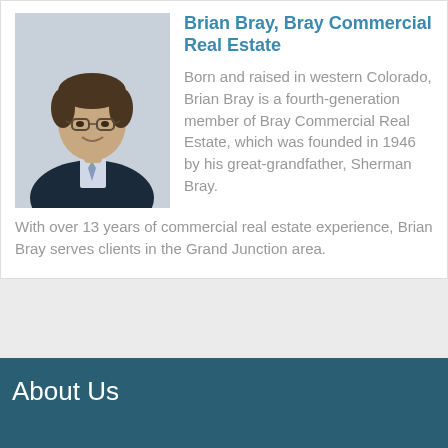Brian Bray, Bray Commercial Real Estate
[Figure (photo): Professional headshot of Brian Bray, a man in a dark suit and tie, wearing glasses, smiling]
Born and raised in western Colorado, Brian Bray is a fourth-generation member of Bray Commercial Real Estate, which was founded in 1946 by his great-grandfather, Sherman Bray. With over 13 years of commercial real estate experience, Brian Bray serves clients in the Grand Junction area.
About Us